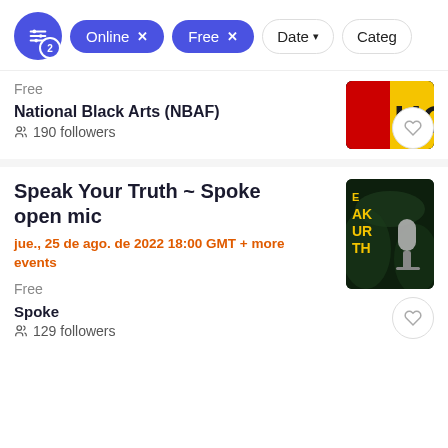Filter controls: Online x, Free x, Date dropdown, Category (partial)
Free
National Black Arts (NBAF)
190 followers
Speak Your Truth ~ Spoke open mic
jue., 25 de ago. de 2022 18:00 GMT + more events
Free
Spoke
129 followers